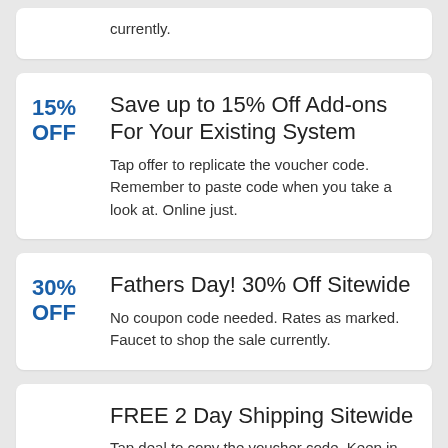currently.
Save up to 15% Off Add-ons For Your Existing System
Tap offer to replicate the voucher code. Remember to paste code when you take a look at. Online just.
Fathers Day! 30% Off Sitewide
No coupon code needed. Rates as marked. Faucet to shop the sale currently.
FREE 2 Day Shipping Sitewide
Tap deal to copy the voucher code. Keep in